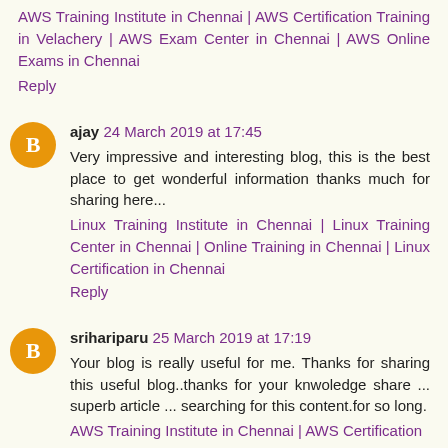AWS Training Institute in Chennai | AWS Certification Training in Velachery | AWS Exam Center in Chennai | AWS Online Exams in Chennai
Reply
ajay 24 March 2019 at 17:45
Very impressive and interesting blog, this is the best place to get wonderful information thanks much for sharing here...
Linux Training Institute in Chennai | Linux Training Center in Chennai | Online Training in Chennai | Linux Certification in Chennai
Reply
srihariparu 25 March 2019 at 17:19
Your blog is really useful for me. Thanks for sharing this useful blog..thanks for your knwoledge share ... superb article ... searching for this content.for so long.
AWS Training Institute in Chennai | AWS Certification